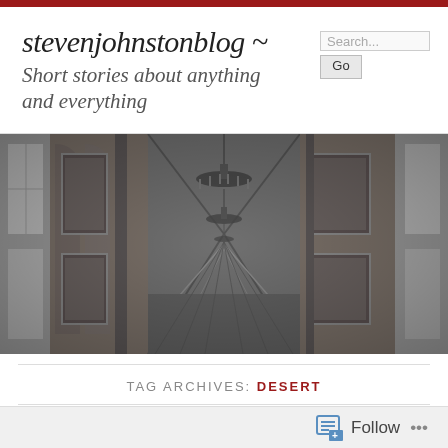stevenjohnstonblog ~
Short stories about anything and everything
[Figure (photo): Black and white panoramic photograph of an ornate palace hallway with arched windows, chandeliers, and framed paintings on the walls, leading to a vanishing point in the center.]
TAG ARCHIVES: DESERT
Follow